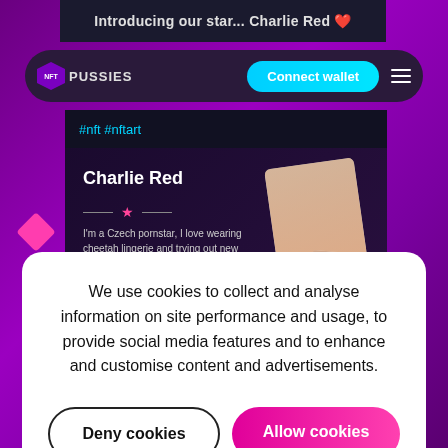[Figure (screenshot): Screenshot of NFT Pussies website showing navigation bar with 'Connect wallet' button, Charlie Red profile card with bio and 132K Followers, and a cookie consent overlay with 'Deny cookies' and 'Allow cookies' buttons.]
Introducing our star... Charlie Red
#nft #nftart
Charlie Red
I'm a Czech pornstar, I love wearing cheetah lingerie and trying out new outfits. Buy boxes and discover
132K Followers
We use cookies to collect and analyse information on site performance and usage, to provide social media features and to enhance and customise content and advertisements.
Deny cookies
Allow cookies
$PUSSIES tokens to regain the use case once they are depleted. Do